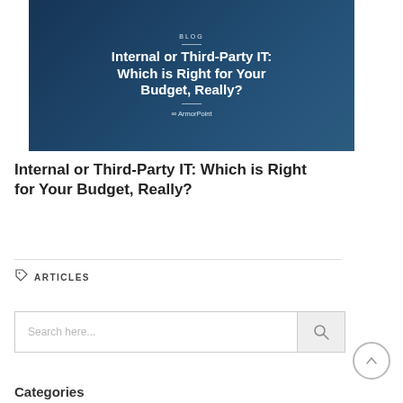[Figure (screenshot): Hero banner with dark blue teal overlay showing an office/lab environment. Text reads BLOG at top, then 'Internal or Third-Party IT: Which is Right for Your Budget, Really?' with ArmorPoint logo at bottom.]
Internal or Third-Party IT: Which is Right for Your Budget, Really?
ARTICLES
Search here...
Categories